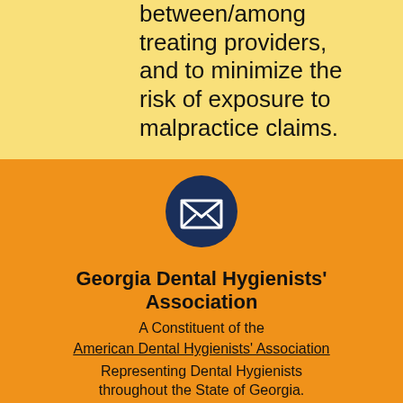between/among treating providers, and to minimize the risk of exposure to malpractice claims.
[Figure (illustration): Dark navy blue circle with a white envelope/mail icon in the center]
Georgia Dental Hygienists' Association
A Constituent of the American Dental Hygienists' Association Representing Dental Hygienists throughout the State of Georgia.
The Georgia Dental Hygienists' Association does not endorse any business or its product(s). See disclaimer
Site created by SJCREATIVE